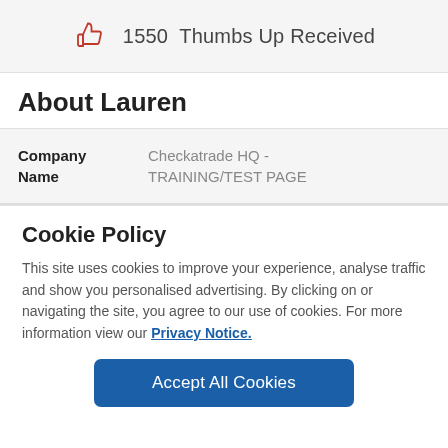[Figure (infographic): Thumbs up icon with count: 1550 Thumbs Up Received]
About Lauren
| Company Name |  |
| --- | --- |
| Company Name | Checkatrade HQ - TRAINING/TEST PAGE |
Cookie Policy
This site uses cookies to improve your experience, analyse traffic and show you personalised advertising. By clicking on or navigating the site, you agree to our use of cookies. For more information view our Privacy Notice.
Accept All Cookies